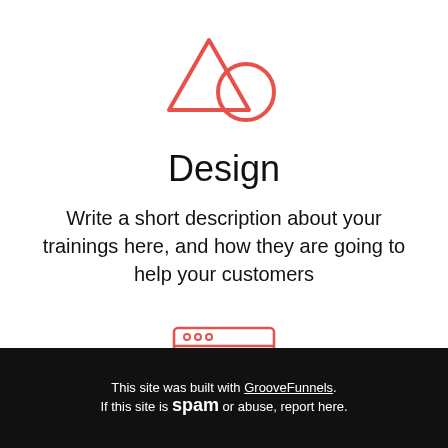[Figure (illustration): Red outline icon of a triangle and a circle (design shapes)]
Design
Write a short description about your trainings here, and how they are going to help your customers
[Figure (illustration): Red outline icon of a browser window with a heart and lines inside]
This site was built with GrooveFunnels. If this site is spam or abuse, report here.